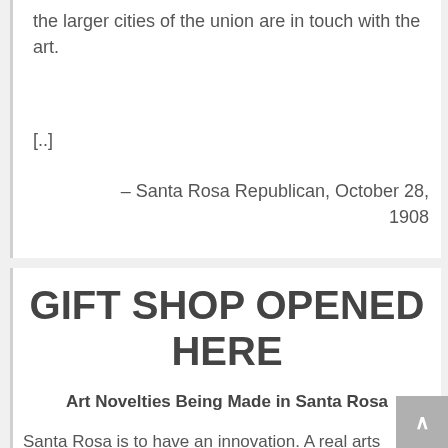the larger cities of the union are in touch with the art.
[..]
– Santa Rosa Republican, October 28, 1908
GIFT SHOP OPENED HERE
Art Novelties Being Made in Santa Rosa
Santa Rosa is to have an innovation. A real arts and crafts shop is among us.